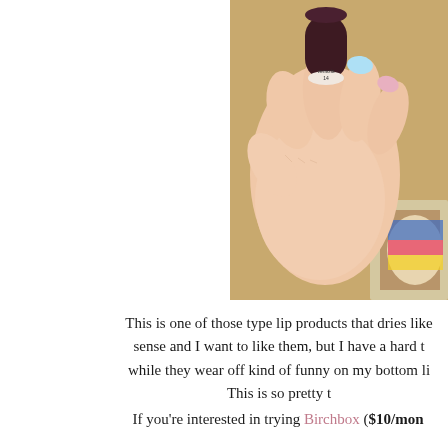[Figure (photo): A hand with light blue painted nails holding a dark maroon/brown lipstick or lip product. The bottom of the product shows a label reading 'venezia 14'. Background includes a tan/golden couch and colorful items.]
This is one of those type lip products that dries like sense and I want to like them, but I have a hard t while they wear off kind of funny on my bottom li This is so pretty t
If you're interested in trying Birchbox ($10/mon